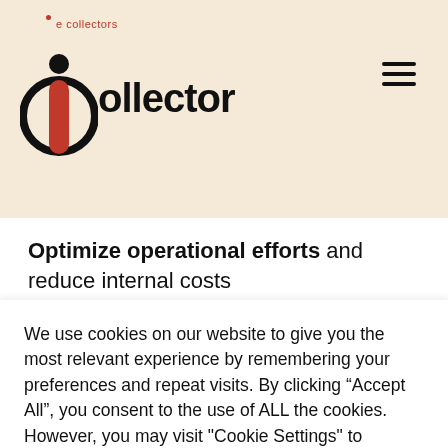iCollector
Optimize operational efforts and reduce internal costs
[Figure (illustration): Orange circle checkmark icon]
Decrease customers' debts, optimize profit and
We use cookies on our website to give you the most relevant experience by remembering your preferences and repeat visits. By clicking “Accept All”, you consent to the use of ALL the cookies. However, you may visit "Cookie Settings" to provide a controlled consent.
Cookie Settings | Accept All